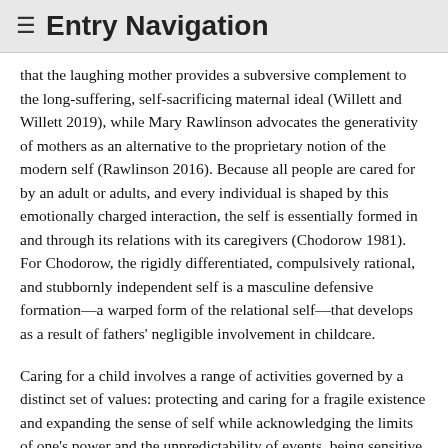≡ Entry Navigation
that the laughing mother provides a subversive complement to the long-suffering, self-sacrificing maternal ideal (Willett and Willett 2019), while Mary Rawlinson advocates the generativity of mothers as an alternative to the proprietary notion of the modern self (Rawlinson 2016). Because all people are cared for by an adult or adults, and every individual is shaped by this emotionally charged interaction, the self is essentially formed in and through its relations with its caregivers (Chodorow 1981). For Chodorow, the rigidly differentiated, compulsively rational, and stubbornly independent self is a masculine defensive formation—a warped form of the relational self—that develops as a result of fathers' negligible involvement in childcare.
Caring for a child involves a range of activities governed by a distinct set of values: protecting and caring for a fragile existence and expanding the sense of self while acknowledging the limits of one's power and the unpredictability of events, being sensitive to the other's very different viewpoint, and learning to love while